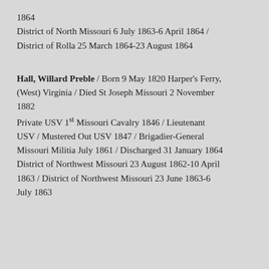1864
District of North Missouri 6 July 1863-6 April 1864 / District of Rolla 25 March 1864-23 August 1864
Hall, Willard Preble / Born 9 May 1820 Harper's Ferry, (West) Virginia / Died St Joseph Missouri 2 November 1882
Private USV 1st Missouri Cavalry 1846 / Lieutenant USV / Mustered Out USV 1847 / Brigadier-General Missouri Militia July 1861 / Discharged 31 January 1864
District of Northwest Missouri 23 August 1862-10 April 1863 / District of Northwest Missouri 23 June 1863-6 July 1863